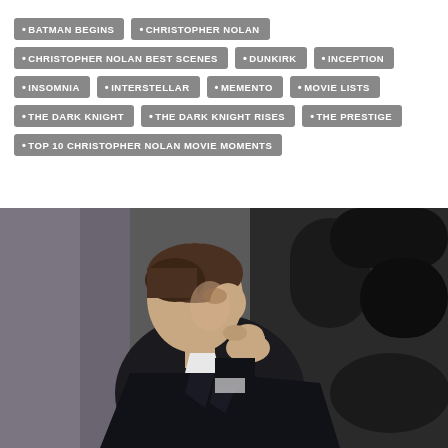BATMAN BEGINS
CHRISTOPHER NOLAN
CHRISTOPHER NOLAN BEST SCENES
DUNKIRK
INCEPTION
INSOMNIA
INTERSTELLAR
MEMENTO
MOVIE LISTS
THE DARK KNIGHT
THE DARK KNIGHT RISES
THE PRESTIGE
TOP 10 CHRISTOPHER NOLAN MOVIE MOMENTS
[Figure (photo): A man in a dark suit viewed from the side in a thoughtful pose with his hand raised to his chin, with dark machinery visible in the background. Likely Christopher Nolan on a film set.]